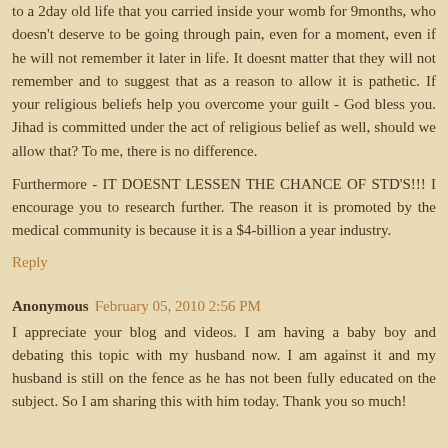to a 2day old life that you carried inside your womb for 9months, who doesn't deserve to be going through pain, even for a moment, even if he will not remember it later in life. It doesnt matter that they will not remember and to suggest that as a reason to allow it is pathetic. If your religious beliefs help you overcome your guilt - God bless you. Jihad is committed under the act of religious belief as well, should we allow that? To me, there is no difference.
Furthermore - IT DOESNT LESSEN THE CHANCE OF STD'S!!! I encourage you to research further. The reason it is promoted by the medical community is because it is a $4-billion a year industry.
Reply
Anonymous February 05, 2010 2:56 PM
I appreciate your blog and videos. I am having a baby boy and debating this topic with my husband now. I am against it and my husband is still on the fence as he has not been fully educated on the subject. So I am sharing this with him today. Thank you so much!